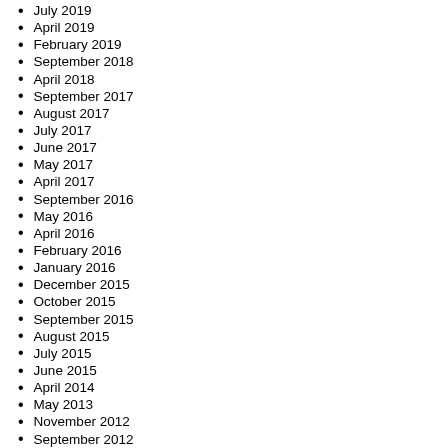July 2019
April 2019
February 2019
September 2018
April 2018
September 2017
August 2017
July 2017
June 2017
May 2017
April 2017
September 2016
May 2016
April 2016
February 2016
January 2016
December 2015
October 2015
September 2015
August 2015
July 2015
June 2015
April 2014
May 2013
November 2012
September 2012